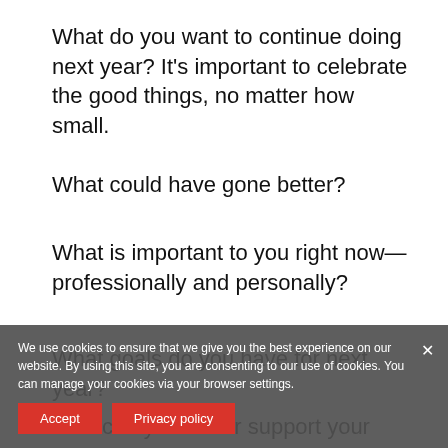What do you want to continue doing next year? It's important to celebrate the good things, no matter how small.
What could have gone better?
What is important to you right now—professionally and personally?
What goals do you have for next year?
How can you better support your students or mentees? Conversely, what kinds of support do you want from your students or bosses?
We use cookies to ensure that we give you the best experience on our website. By using this site, you are consenting to our use of cookies. You can manage your cookies via your browser settings.